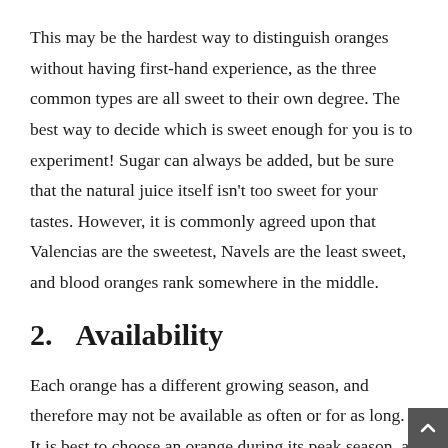This may be the hardest way to distinguish oranges without having first-hand experience, as the three common types are all sweet to their own degree. The best way to decide which is sweet enough for you is to experiment! Sugar can always be added, but be sure that the natural juice itself isn't too sweet for your tastes. However, it is commonly agreed upon that Valencias are the sweetest, Navels are the least sweet, and blood oranges rank somewhere in the middle.
2.  Availability
Each orange has a different growing season, and therefore may not be available as often or for as long. It is best to choose an orange during its peak season, as it is most likely to be the most flavorful and juicy. Avoid choosing an orange at